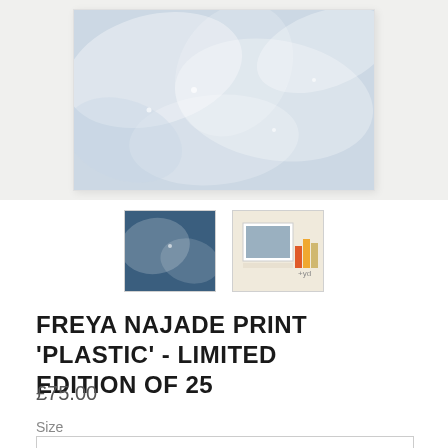[Figure (photo): Main product image: close-up photograph of translucent plastic bags with a light blue-grey tone, displayed in a white frame on a light grey background]
[Figure (photo): Two thumbnail images of the print: left thumbnail shows the artwork close-up with blue tones, right thumbnail shows the framed artwork on a shelf with coloured books]
FREYA NAJADE PRINT 'PLASTIC' - LIMITED EDITION OF 25
£75.00
Size